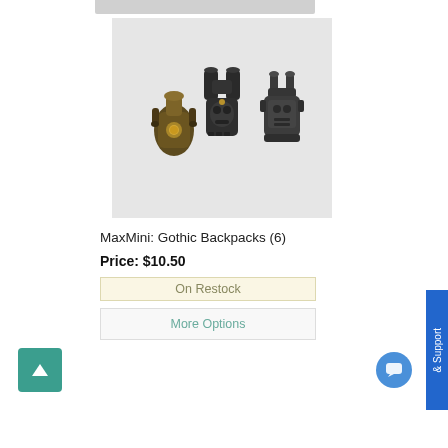[Figure (photo): Three dark metallic gothic-style miniature backpacks/equipment pieces on a light grey background. Left piece is bronze/gold toned, middle and right are dark gunmetal grey with skull and mechanical details.]
MaxMini: Gothic Backpacks (6)
Price: $10.50
On Restock
More Options